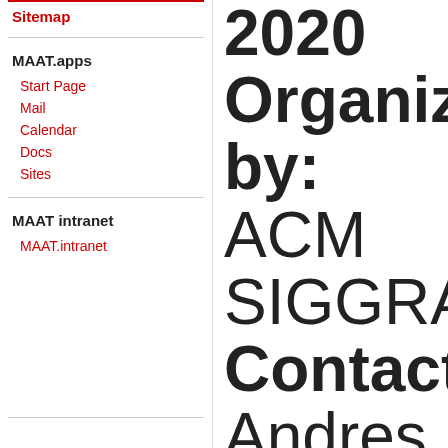Sitemap
MAAT.apps
Start Page
Mail
Calendar
Docs
Sites
MAAT intranet
MAAT.intranet
2020 Organized by: ACM SIGGRAP Contact: Andres Burbano More info: SIGGRAP